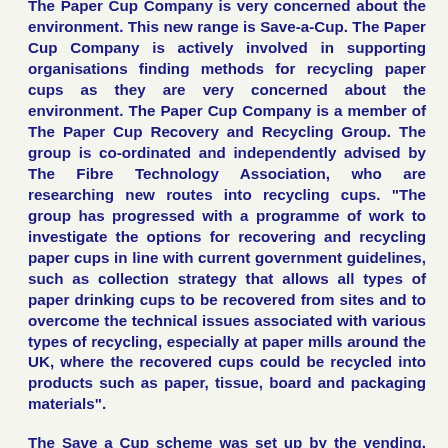The Paper Cup Company is very concerned about the environment. This new range is Save-a-Cup. The Paper Cup Company is actively involved in supporting organisations finding methods for recycling paper cups as they are very concerned about the environment. The Paper Cup Company is a member of The Paper Cup Recovery and Recycling Group. The group is co-ordinated and independently advised by The Fibre Technology Association, who are researching new routes into recycling cups. "The group has progressed with a programme of work to investigate the options for recovering and recycling paper cups in line with current government guidelines, such as collection strategy that allows all types of paper drinking cups to be recovered from sites and to overcome the technical issues associated with various types of recycling, especially at paper mills around the UK, where the recovered cups could be recycled into products such as paper, tissue, board and packaging materials".
The Save a Cup scheme was set up by the vending, foodservice and plastics industries to collect biodegradable plastic cups from workplaces across the